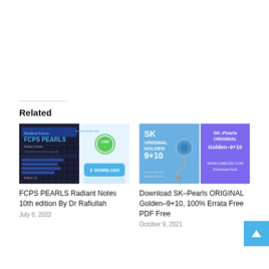Related
[Figure (photo): Book cover: FCPS PEARLS Radiant Notes with download badge]
FCPS PEARLS Radiant Notes 10th edition By Dr Rafiullah
July 8, 2022
[Figure (photo): Book cover: SK ORIGINAL GOLDEN 9+10 with SK-Pearls ORIGINAL Golden-9+10 download panel]
Download SK–Pearls ORIGINAL Golden–9+10, 100% Errata Free PDF Free
October 9, 2021